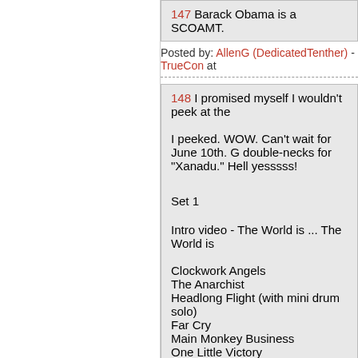147 Barack Obama is a SCOAMT.
Posted by: AllenG (DedicatedTenther) - TrueCon at
148 I promised myself I wouldn't peek at the
I peeked. WOW. Can't wait for June 10th. G double-necks for "Xanadu." Hell yesssss!
Set 1
Intro video - The World is ... The World is
Clockwork Angels
The Anarchist
Headlong Flight (with mini drum solo)
Far Cry
Main Monkey Business
One Little Victory
Animate
Roll the Bones
Distant Early Warning
Subdivisions
Intermission
Set 2